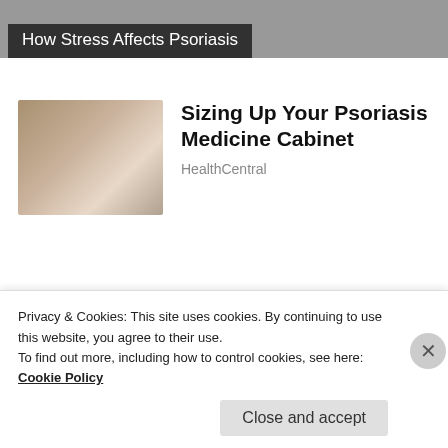[Figure (photo): Top banner image partially visible, showing dark background with text overlay 'How Stress Affects Psoriasis']
How Stress Affects Psoriasis
[Figure (photo): Woman shopping in pharmacy/grocery store aisle, browsing products on shelves]
Sizing Up Your Psoriasis Medicine Cabinet
HealthCentral
[Figure (photo): Illustrated mascot figure wearing large dark hat with white curly hair, smiling — Quaker Oats style logo character]
Almost Nobody Has Passed This Classic Logo Quiz
WarpedSpeed
Privacy & Cookies: This site uses cookies. By continuing to use this website, you agree to their use.
To find out more, including how to control cookies, see here: Cookie Policy
Close and accept